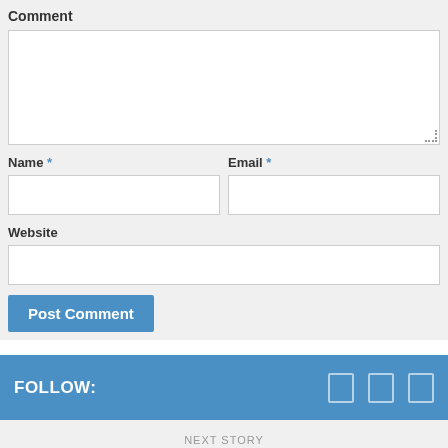Comment
Name * Email *
Website
Post Comment
FOLLOW:
NEXT STORY